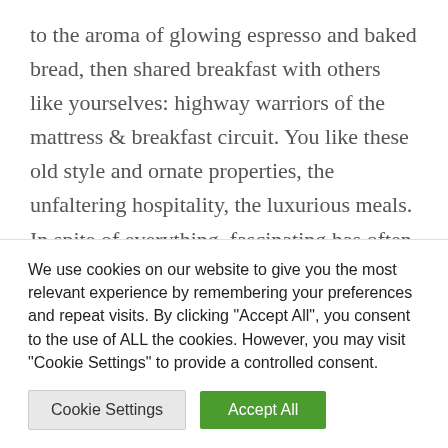to the aroma of glowing espresso and baked bread, then shared breakfast with others like yourselves: highway warriors of the mattress & breakfast circuit. You like these old style and ornate properties, the unfaltering hospitality, the luxurious meals. In spite of everything, fascinating has often been a love of yours, and also you noticed, "We could need to do this!"
Minimize to 6 months later: you've been chatting with innkeepers in regards to the Inn-preserving lifestyle.
We use cookies on our website to give you the most relevant experience by remembering your preferences and repeat visits. By clicking "Accept All", you consent to the use of ALL the cookies. However, you may visit "Cookie Settings" to provide a controlled consent.